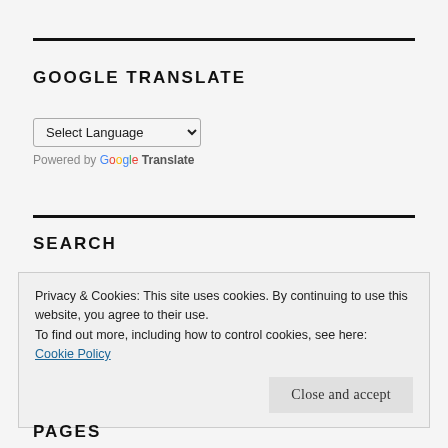GOOGLE TRANSLATE
Select Language (dropdown) — Powered by Google Translate
SEARCH
Privacy & Cookies: This site uses cookies. By continuing to use this website, you agree to their use.
To find out more, including how to control cookies, see here: Cookie Policy
Close and accept
PAGES